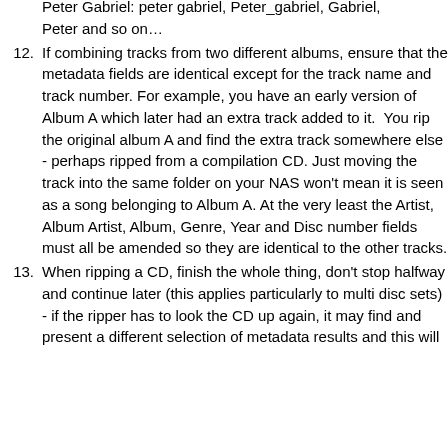Peter Gabriel: peter gabriel, Peter_gabriel, Gabriel, Peter and so on…
12. If combining tracks from two different albums, ensure that the metadata fields are identical except for the track name and track number. For example, you have an early version of Album A which later had an extra track added to it.  You rip the original album A and find the extra track somewhere else - perhaps ripped from a compilation CD. Just moving the track into the same folder on your NAS won't mean it is seen as a song belonging to Album A. At the very least the Artist, Album Artist, Album, Genre, Year and Disc number fields must all be amended so they are identical to the other tracks.
13. When ripping a CD, finish the whole thing, don't stop halfway and continue later (this applies particularly to multi disc sets) - if the ripper has to look the CD up again, it may find and present a different selection of metadata results and this will